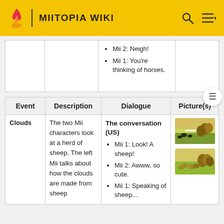MIITOPIA WIKI
| Event | Description | Dialogue | Picture(s) |
| --- | --- | --- | --- |
|  |  | Mii 2: Neigh!
Mii 1: You're thinking of horses. |  |
| Event | Description | Dialogue | Picture(s) |
| --- | --- | --- | --- |
| Clouds | The two Mii characters look at a herd of sheep. The left Mii talks about how the clouds are made from sheep | The conversation (US)
Mii 1: Look! A sheep!
Mii 2: Awww, so cute.
Mii 1: Speaking of sheep... | [image1][image2] |